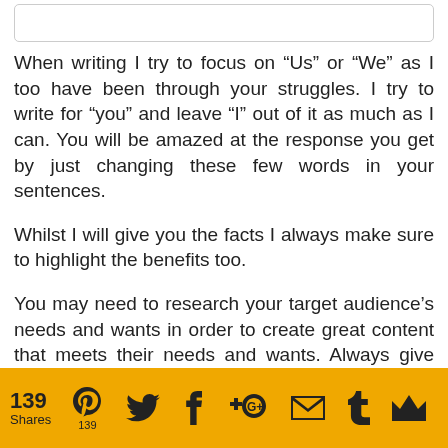When writing I try to focus on “Us” or “We” as I too have been through your struggles. I try to write for “you” and leave “I” out of it as much as I can. You will be amazed at the response you get by just changing these few words in your sentences.
Whilst I will give you the facts I always make sure to highlight the benefits too.
You may need to research your target audience’s needs and wants in order to create great content that meets their needs and wants. Always give them enough reason to read
139 Shares | 139 [Pinterest] [Twitter] [Facebook] [Google+] [Email] [Tumblr] [Crown]